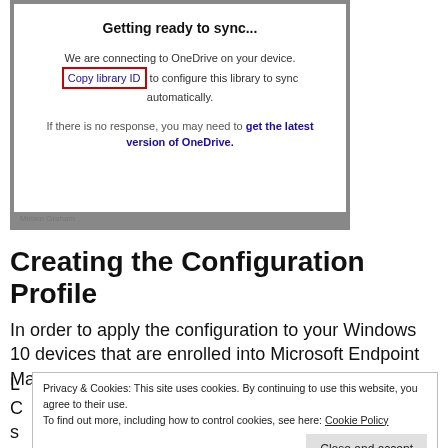[Figure (screenshot): Screenshot of a OneDrive sync dialog box titled 'Getting ready to sync...' with text about connecting to OneDrive and a 'Copy library ID' link highlighted with a red border, followed by instructions to get the latest version of OneDrive. A watermark 'Miriam Graham' appears at the bottom.]
Creating the Configuration Profile
In order to apply the configuration to your Windows 10 devices that are enrolled into Microsoft Endpoint Manager.
Privacy & Cookies: This site uses cookies. By continuing to use this website, you agree to their use.
To find out more, including how to control cookies, see here: Cookie Policy
Close and accept